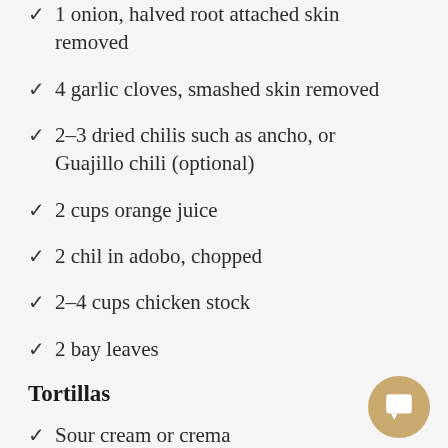1 onion, halved root attached skin removed
4 garlic cloves, smashed skin removed
2–3 dried chilis such as ancho, or Guajillo chili (optional)
2 cups orange juice
2 chil in adobo, chopped
2–4 cups chicken stock
2 bay leaves
Tortillas
Sour cream or crema
Cilantro